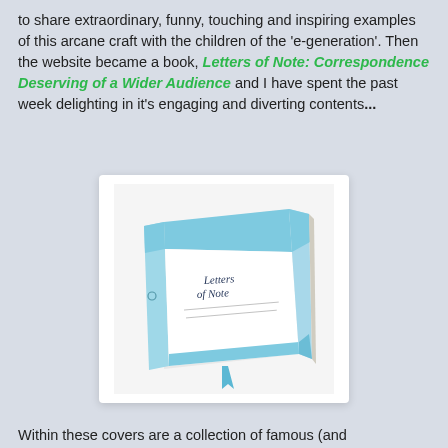to share extraordinary, funny, touching and inspiring examples of this arcane craft with the children of the 'e-generation'. Then the website became a book, Letters of Note: Correspondence Deserving of a Wider Audience and I have spent the past week delighting in it's engaging and diverting contents...
[Figure (photo): A hardcover book titled 'Letters of Note: Correspondence Deserving a Wider Audience' with a light blue textured cover and white spine area, with a blue ribbon bookmark, photographed at an angle on a white background.]
Within these covers are a collection of famous (and